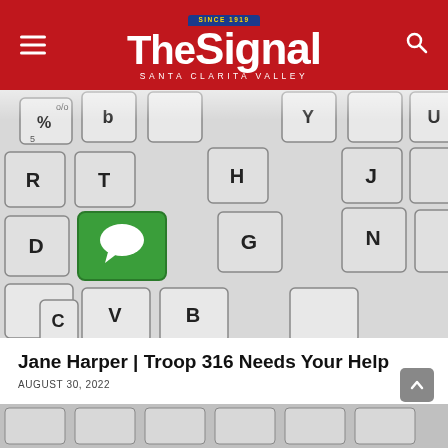The Signal — Santa Clarita Valley
[Figure (photo): Close-up photograph of a computer keyboard with most keys in white/grey, and one key (F key area) in green featuring a white speech bubble / messaging icon]
Jane Harper | Troop 316 Needs Your Help
AUGUST 30, 2022
[Figure (photo): Bottom strip showing partial view of the same keyboard photo]